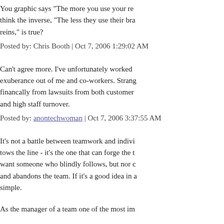You graphic says "The more you use your re... think the inverse, "The less they use their bra... reins," is true?
Posted by: Chris Booth | Oct 7, 2006 1:29:02 AM
Can't agree more. I've unfortunately worked ... exuberance out of me and co-workers. Strang... financally from lawsuits from both customer... and high staff turnover.
Posted by: anontechwoman | Oct 7, 2006 3:37:55 AM
It's not a battle between teamwork and indivi... tows the line - it's the one that can forge the t... want someone who blindly follows, but nor c... and abandons the team. If it's a good idea in a... simple.
As the manager of a team one of the most im...